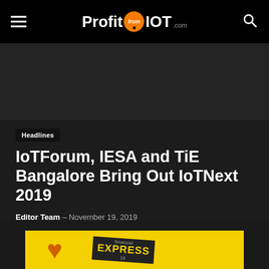ProfitfromIOT.com
[Figure (other): Dark hero image area behind article header]
Headlines
IoTForum, IESA and TiE Bangalore Bring Out IoTNext 2019
Editor Team – November 19, 2019
[Figure (other): Yellow advertisement banner with orange heart and Express newspaper logo]